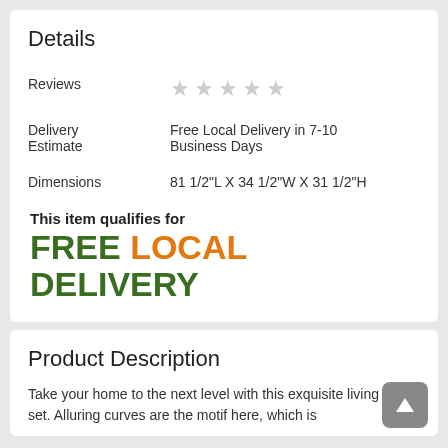Details
| Reviews | ★★★★★ (0 stars) |
| Delivery Estimate | Free Local Delivery in 7-10 Business Days |
| Dimensions | 81 1/2"L X 34 1/2"W X 31 1/2"H |
This item qualifies for
FREE LOCAL DELIVERY
Product Description
Take your home to the next level with this exquisite living room set. Alluring curves are the motif here, which is